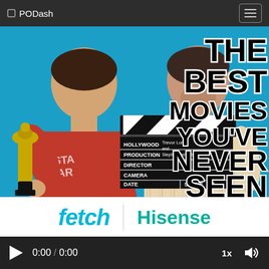PODash
[Figure (photo): Two men posing for a podcast cover photo. Left man wears a red Star Wars shirt and holds a golden Oscar trophy statuette. Right man holds a film clapperboard that reads HOLLYWOOD, PRODUCTION, DIRECTOR, CAMERA, DATE, SCENE, and has 'Trevor Long and Stephen Fenech' written on it. Text overlay reads: THE BEST MOVIES YOU'VE NEVER SEEN. Background is cyan/blue.]
[Figure (logo): fetch logo in cyan italic text, and Hisense logo in teal text, separated by a vertical line, on white background]
0:00 / 0:00
1x